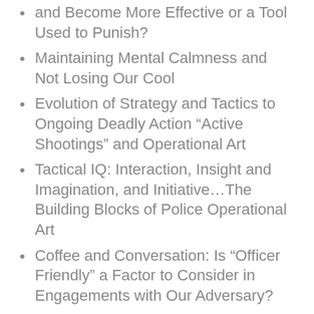and Become More Effective or a Tool Used to Punish?
Maintaining Mental Calmness and Not Losing Our Cool
Evolution of Strategy and Tactics to Ongoing Deadly Action “Active Shootings” and Operational Art
Tactical IQ: Interaction, Insight and Imagination, and Initiative…The Building Blocks of Police Operational Art
Coffee and Conversation: Is “Officer Friendly” a Factor to Consider in Engagements with Our Adversary?
“Sharpening Our Orientation” and Reducing Officers Killed in the Line of Duty
Coffee and Conversation: Police Make Mistakes But Seldom Admit Them! What's Reasonable?
The Tactical Decision Maker: The Devil’s